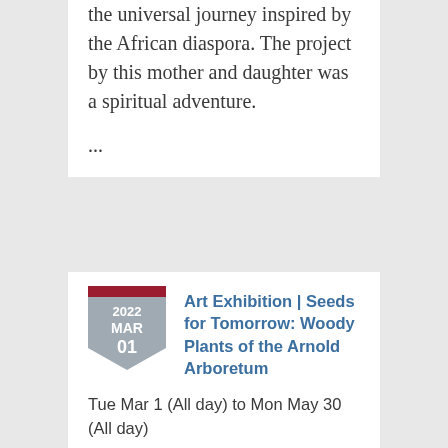the universal journey inspired by the African diaspora. The project by this mother and daughter was a spiritual adventure.
...
[Figure (other): Calendar badge showing 2022 MAR 01 in a shield/pentagon shape with a dark red top bar and gray body]
Art Exhibition | Seeds for Tomorrow: Woody Plants of the Arnold Arboretum
Tue Mar 1 (All day) to Mon May 30 (All day)
Location: Arnold Arboretum—Online